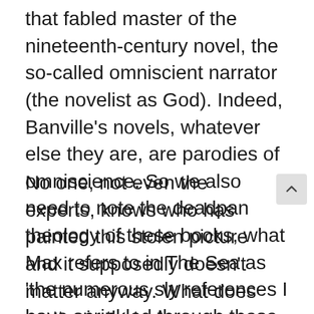that fabled master of the nineteenth-century novel, the so-called omniscient narrator (the novelist as God). Indeed, Banville's novels, whatever else they are, are parodies of omniscience. So we also need to note the deadpan theology of these books, what Max refers to in The Sea as 'the numerous sly references I have sprinkled through these pages', with all that 'sprinkling' might allude to.
No one, not even the experts, knows who has painted this stolen picture and it supposedly doesn't matter anyway. What does matter is that when Freddie looks at the painting his 'heart contracts. There is something in the way the woman regards me, the querulous, mute insistence of her eyes, which I can neither escape